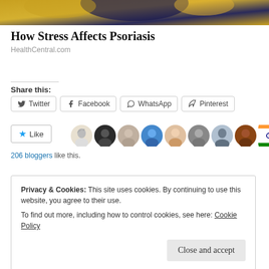[Figure (photo): Partial view of a person with yellow/gold fabric visible, dark background, cropped hero image at top of page]
How Stress Affects Psoriasis
HealthCentral.com
Share this:
Twitter  Facebook  WhatsApp  Pinterest
[Figure (photo): Like button with star icon and avatar thumbnails of 206 bloggers who liked the post]
206 bloggers like this.
Privacy & Cookies: This site uses cookies. By continuing to use this website, you agree to their use.
To find out more, including how to control cookies, see here: Cookie Policy
Close and accept